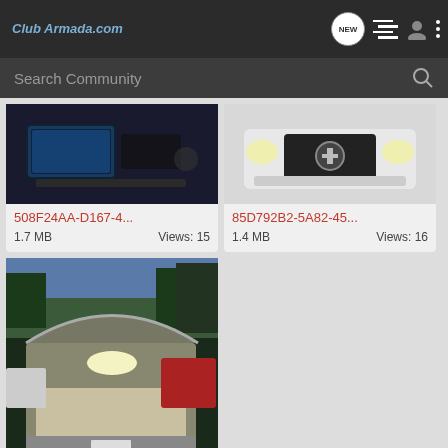Club Armada.com — navigation bar with NEW, list, user, and menu icons
Search Community
[Figure (photo): Car interior dashboard photo, partial view — 508F24AA-D167-4... 1.7 MB Views: 15]
[Figure (photo): Nissan SUV front grille and headlights — 85D792B2-5A82-45... 1.4 MB Views: 16]
[Figure (photo): Nissan Armada rear hatch open at night, cargo area visible — B8938FF4-96E0-4B... 1.5 MB Views: 14]